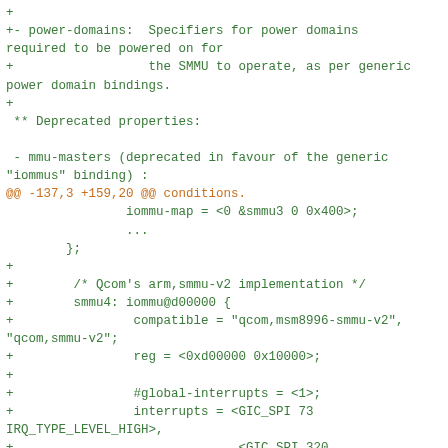Diff/patch code block showing power-domains bindings and iommu configuration for SMMU devices